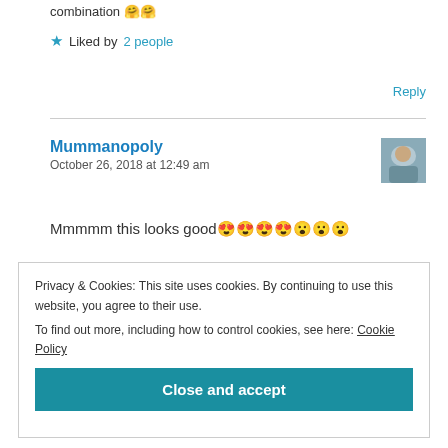combination 🤗🤗
★ Liked by 2 people
Reply
Mummanopoly
October 26, 2018 at 12:49 am
Mmmmm this looks good😍😍😍😍😮😮😮
Privacy & Cookies: This site uses cookies. By continuing to use this website, you agree to their use.
To find out more, including how to control cookies, see here: Cookie Policy
Close and accept